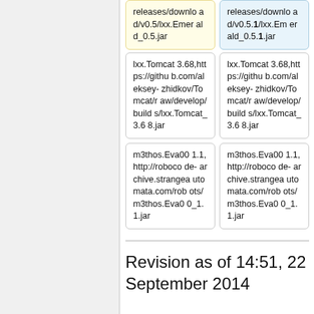releases/download/v0.5/lxx.Emerald_0.5.jar
releases/download/v0.5.1/lxx.Emerald_0.5.1.jar
lxx.Tomcat 3.68,https://github.com/aleksey-zhidkov/Tomcat/raw/develop/builds/lxx.Tomcat_3.68.jar
lxx.Tomcat 3.68,https://github.com/aleksey-zhidkov/Tomcat/raw/develop/builds/lxx.Tomcat_3.68.jar
m3thos.Eva00 1.1,http://robocode-archive.strangeautomata.com/robots/m3thos.Eva00_1.1.jar
m3thos.Eva00 1.1,http://robocode-archive.strangeautomata.com/robots/m3thos.Eva00_1.1.jar
Revision as of 14:51, 22 September 2014